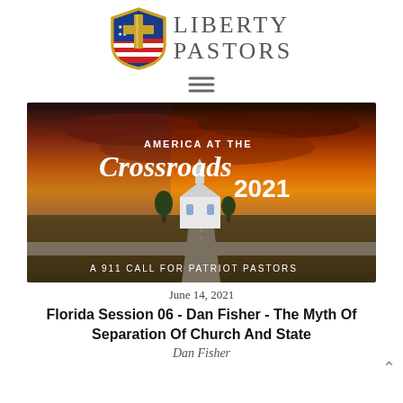[Figure (logo): Liberty Pastors logo: circular shield with cross and American flag, with text 'Liberty Pastors' in serif uppercase letters]
[Figure (other): Hamburger menu icon (three horizontal lines)]
[Figure (photo): Aerial photo of a rural crossroads with a white church, farmland, dramatic sky at sunset. Text overlay reads 'AMERICA AT THE Crossroads 2021 A 911 CALL FOR PATRIOT PASTORS']
June 14, 2021
Florida Session 06 - Dan Fisher - The Myth Of Separation Of Church And State
Dan Fisher